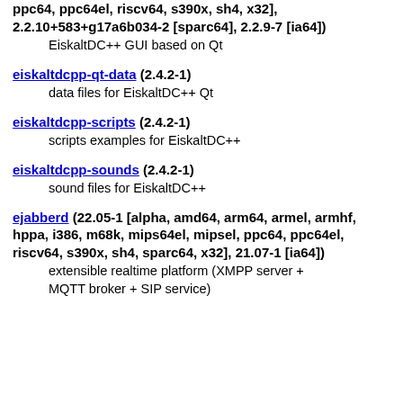ppc64, ppc64el, riscv64, s390x, sh4, x32], 2.2.10+583+g17a6b034-2 [sparc64], 2.2.9-7 [ia64])
    EiskaltDC++ GUI based on Qt
eiskaltdcpp-qt-data (2.4.2-1)
    data files for EiskaltDC++ Qt
eiskaltdcpp-scripts (2.4.2-1)
    scripts examples for EiskaltDC++
eiskaltdcpp-sounds (2.4.2-1)
    sound files for EiskaltDC++
ejabberd (22.05-1 [alpha, amd64, arm64, armel, armhf, hppa, i386, m68k, mips64el, mipsel, ppc64, ppc64el, riscv64, s390x, sh4, sparc64, x32], 21.07-1 [ia64])
    extensible realtime platform (XMPP server + MQTT broker + SIP service)